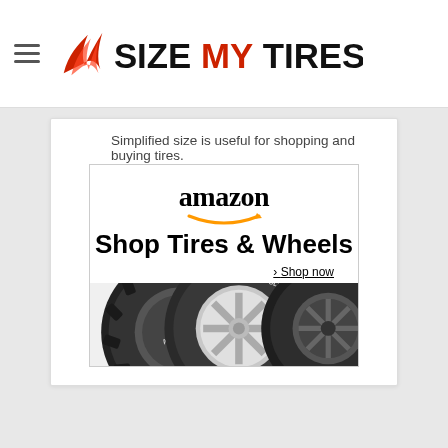SIZE MY TIRES
Simplified size is useful for shopping and buying tires.
[Figure (screenshot): Amazon advertisement for Shop Tires & Wheels with three tires and wheels shown in black and white, with 'Shop now' link and Privacy badge in the corner.]